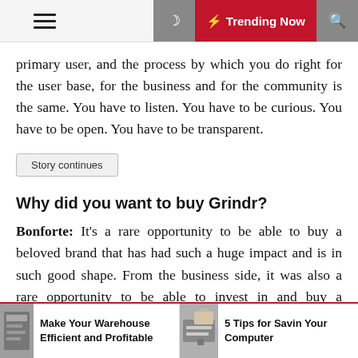☰  🌙  ⚡ Trending Now  🔍
primary user, and the process by which you do right for the user base, for the business and for the community is the same. You have to listen. You have to be curious. You have to be open. You have to be transparent.
Story continues
Why did you want to buy Grindr?
Bonforte: It's a rare opportunity to be able to buy a beloved brand that has had such a huge impact and is in such good shape. From the business side, it was also a rare opportunity to be able to invest in and buy a dominant player in this category that has incredibly loyal and happy users, and that has been there for over a decade.
Make Your Warehouse Efficient and Profitable
5 Tips for Savin Your Computer